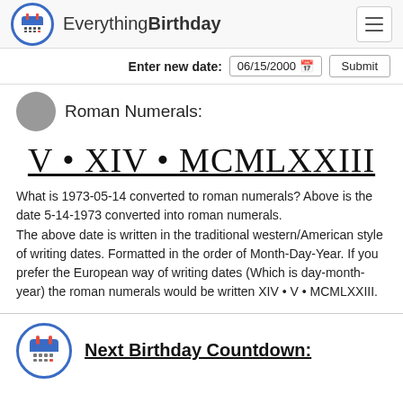Everything Birthday
Enter new date: 06/15/2000  Submit
Roman Numerals:
V • XIV • MCMLXXIII
What is 1973-05-14 converted to roman numerals? Above is the date 5-14-1973 converted into roman numerals.
The above date is written in the traditional western/American style of writing dates. Formatted in the order of Month-Day-Year. If you prefer the European way of writing dates (Which is day-month-year) the roman numerals would be written XIV • V • MCMLXXIII.
Next Birthday Countdown: